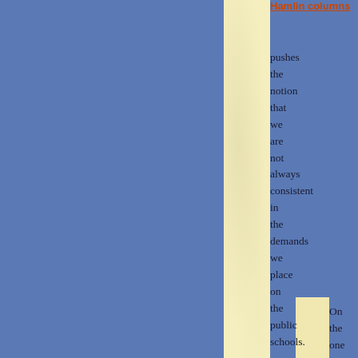Hamlin columns
pushes the notion that we are not always consistent in the demands we place on the public schools.
On the one hand, many